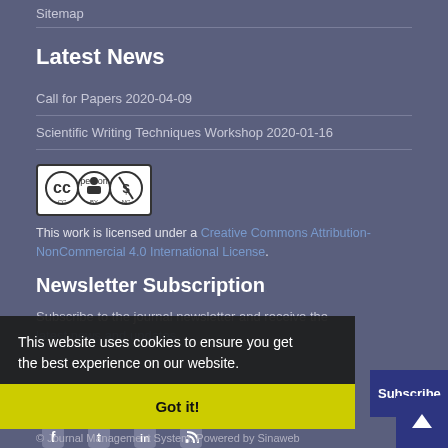Sitemap
Latest News
Call for Papers 2020-04-09
Scientific Writing Techniques Workshop 2020-01-16
[Figure (logo): Creative Commons BY-NC license badge]
This work is licensed under a Creative Commons Attribution-NonCommercial 4.0 International License.
Newsletter Subscription
Subscribe to the journal newsletter and receive the latest news and updates
This website uses cookies to ensure you get the best experience on our website.
Got it!
© Journal Management System. Powered by Sinaweb